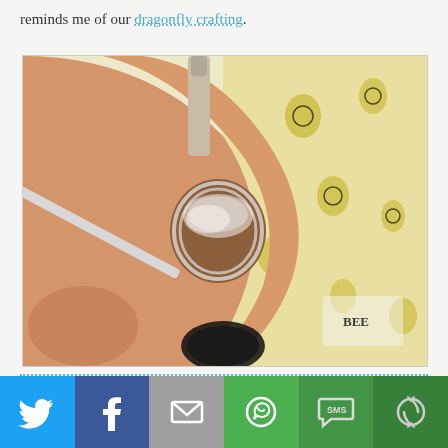reminds me of our dragonfly crafting.
[Figure (photo): Hands holding a cork or round craft object wrapped in white yarn/thread, with a nail polish bottle and a paintbrush applying something to it. Background shows a yellow floral fabric.]
[Figure (infographic): Social media sharing bar with six buttons: Twitter (blue bird icon), Facebook (blue f icon), Email (gray envelope icon), WhatsApp (green phone icon), SMS (green speech bubble icon), and More (green circular arrow icon).]